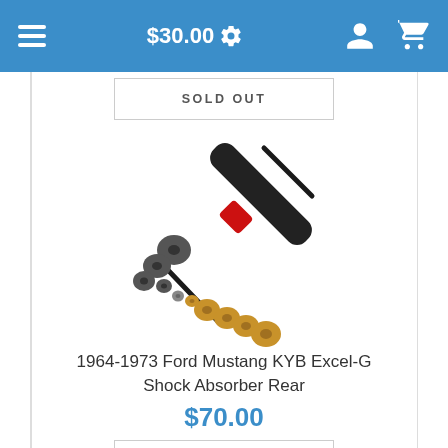$30.00
SOLD OUT
[Figure (photo): KYB Excel-G shock absorber for 1964-1973 Ford Mustang, shown diagonally with mounting hardware components (washers and bushings) spread out beside it. The shock absorber is black with a red label band.]
1964-1973 Ford Mustang KYB Excel-G Shock Absorber Rear
$70.00
SOLD OUT